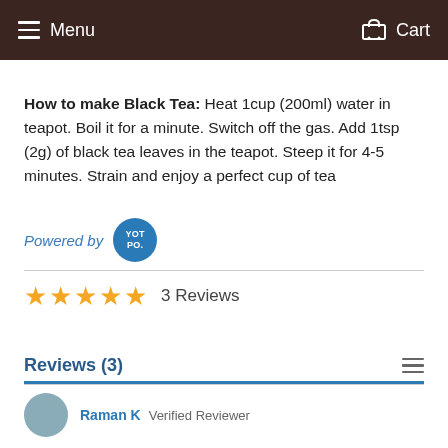Menu  Cart
How to make Black Tea: Heat 1cup (200ml) water in teapot. Boil it for a minute. Switch off the gas. Add 1tsp (2g) of black tea leaves in the teapot. Steep it for 4-5 minutes. Strain and enjoy a perfect cup of tea
[Figure (logo): Powered by YOTPO logo badge (blue circle with YOT PO. text)]
★★★★★  3 Reviews
Reviews (3)
Raman K  Verified Reviewer